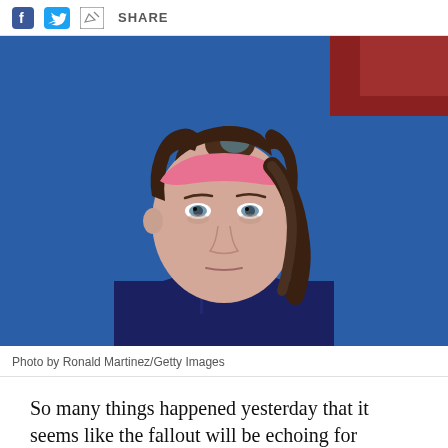f [twitter bird] [share icon] SHARE
[Figure (photo): Close-up photo of a young female soccer player with a pink headband and dark hair pulled back, wearing a dark navy jersey, with a serious/somber expression on her face. Blue background visible behind her.]
Photo by Ronald Martinez/Getty Images
So many things happened yesterday that it seems like the fallout will be echoing for months (and it seemed